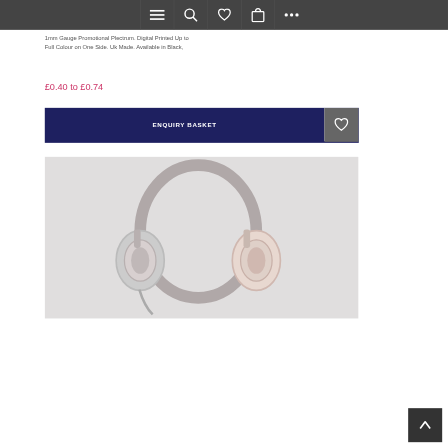[Figure (screenshot): Mobile website navigation bar with menu, search, wishlist, basket, and more icons on dark grey background]
1mm Gauge Promotional Plectrum. Digital Printed Up to Full Colour on One Side. Uk Made. Available in Black,
£0.40 to £0.74
ENQUIRY BASKET
[Figure (photo): Close-up photo of white headphones on a light background]